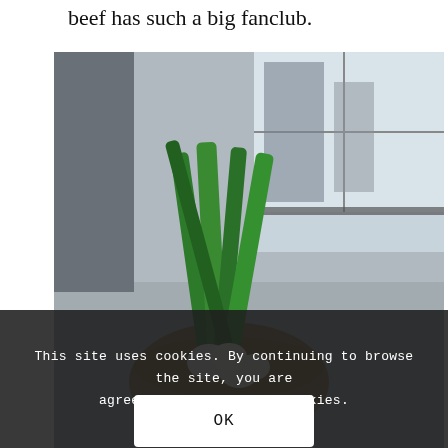beef has such a big fanclub.
[Figure (photo): A raw marbled beef steak on a dark slate board with sliced garlic beside it, and a basket of green onions/scallions in the background on a metal table, with a window view behind.]
This site uses cookies. By continuing to browse the site, you are agreeing to our use of cookies.
OK